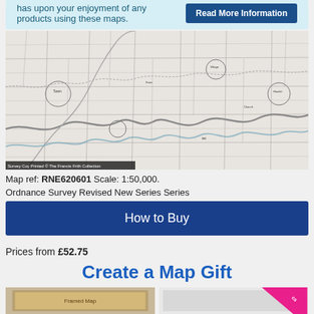has upon your enjoyment of any products using these maps.
Read More Information
[Figure (map): Black and white Ordnance Survey map showing rural area with roads, fields, rivers and place names at 1:50,000 scale. Small caption bar at bottom left reads: Survey Coy Printed © The Francis Frith Collection]
Map ref: RNE620601 Scale: 1:50,000.
Ordnance Survey Revised New Series Series
How to Buy
Prices from £52.75
Create a Map Gift
[Figure (photo): Small thumbnail of a framed map product]
[Figure (photo): Small thumbnail with pink/magenta ribbon corner badge]